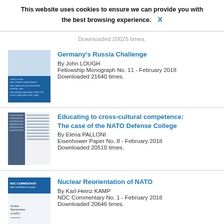Downloaded 20025 times.
This website uses cookies to ensure we can provide you with the best browsing experience. X
Germany's Russia Challenge
By John LOUGH
Fellowship Monograph No. 11 - February 2018
Downloaded 21640 times.
Educating to cross-cultural competence: The case of the NATO Defense College
By Elena PALLONI
Eisenhower Paper No. 8 - February 2018
Downloaded 20510 times.
Nuclear Reorientation of NATO
By Karl-Heinz KAMP
NDC Commentary No. 1 - February 2018
Downloaded 20646 times.
Central Asia and NATO against a Backdrop of Changing Geopolitical Realities